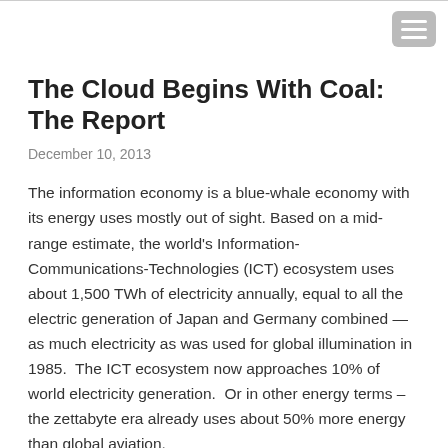The Cloud Begins With Coal: The Report
December 10, 2013
The information economy is a blue-whale economy with its energy uses mostly out of sight. Based on a mid-range estimate, the world's Information-Communications-Technologies (ICT) ecosystem uses about 1,500 TWh of electricity annually, equal to all the electric generation of Japan and Germany combined — as much electricity as was used for global illumination in 1985.  The ICT ecosystem now approaches 10% of world electricity generation.  Or in other energy terms – the zettabyte era already uses about 50% more energy than global aviation.